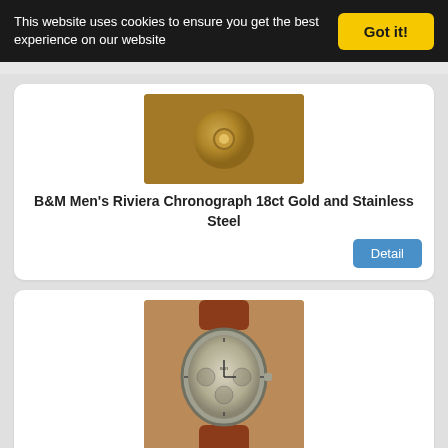This website uses cookies to ensure you get the best experience on our website
[Figure (photo): B&M Men's Riviera Chronograph 18ct Gold and Stainless Steel watch - gold surface close-up]
B&M Men's Riviera Chronograph 18ct Gold and Stainless Steel
Detail
[Figure (photo): B&R Bell & Ross Space 3 Chronograph Stainless Steel Pilot Watch - silver dial with brown leather strap]
B&R Bell & Ross Space 3 Chronograph Stainless Steel Pilot Watch Serviced
Detail
[Figure (photo): Partial view of a white/silver watch with logo visible]